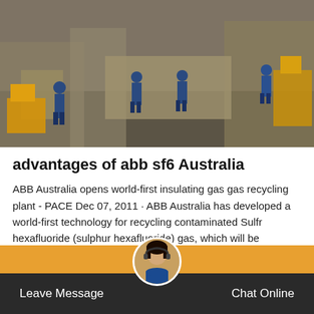[Figure (photo): Industrial outdoor construction scene with workers in blue uniforms and heavy equipment/machinery visible in the background]
advantages of abb sf6 Australia
ABB Australia opens world-first insulating gas gas recycling plant - PACE Dec 07, 2011 · ABB Australia has developed a world-first technology for recycling contaminated Sulfr hexafluoride (sulphur hexafluoride) gas, which will be implemented at a new facility in Moorebank, NSW. The gas recycling technology is based on a new, energy-efficient cryogenic process developed by ABB 's Moorebank team.
Leave Message   Gce ce   Chat Online